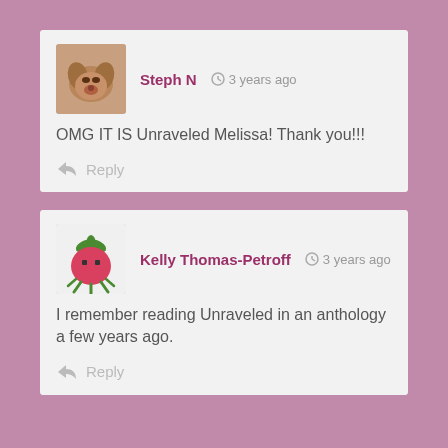[Figure (screenshot): Comment section screenshot showing two user comments on a blog or website]
Steph N · 3 years ago
OMG IT IS Unraveled Melissa! Thank you!!!
Reply
Kelly Thomas-Petroff · 3 years ago
I remember reading Unraveled in an anthology a few years ago.
Reply